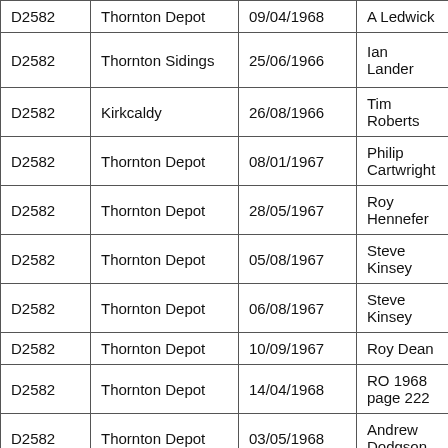| D2582 | Thornton Depot | 09/04/1968 | A Ledwick |
| D2582 | Thornton Sidings | 25/06/1966 | Ian Lander |
| D2582 | Kirkcaldy | 26/08/1966 | Tim Roberts |
| D2582 | Thornton Depot | 08/01/1967 | Philip Cartwright |
| D2582 | Thornton Depot | 28/05/1967 | Roy Hennefer |
| D2582 | Thornton Depot | 05/08/1967 | Steve Kinsey |
| D2582 | Thornton Depot | 06/08/1967 | Steve Kinsey |
| D2582 | Thornton Depot | 10/09/1967 | Roy Dean |
| D2582 | Thornton Depot | 14/04/1968 | RO 1968 page 222 |
| D2582 | Thornton Depot | 03/05/1968 | Andrew Dodgson |
| D2582 | Thornton Depot | 16/07/1968 | Graham Ledger |
| D2582 | Thornton Depot | 20/07/1968 | Mike Rhodes |
| D2582 | Thornton Depot | 27/07/1968 | Peter Martin |